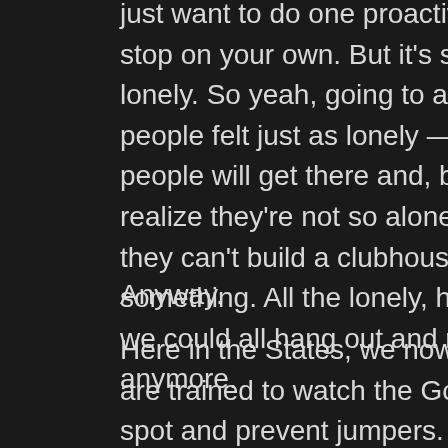just want to do one proactive thing and make it stop on your own. But it's still heart-wrenchingly lonely. So yeah, going to a place where other people felt just as lonely — maybe some people will get there and, by just being there, realize they're not so alone after all. Too bad they can't build a clubhouse there or something. All the lonely, hopeless people — we could all hang out and not be alone anymore.
Anyway.
Here in the States, we now have people who are trained to watch the Golden Gate Bridge to spot and prevent jumpers. That's all they do all day – watch the bridge for jumpers. It sounds like this forest needs more suicide prevention rangers. Bah — it's heartbreaking.
When I watched that documentary, that guy Azusa Hayano really touched me. You could tell he was exactly where he was supposed to be,